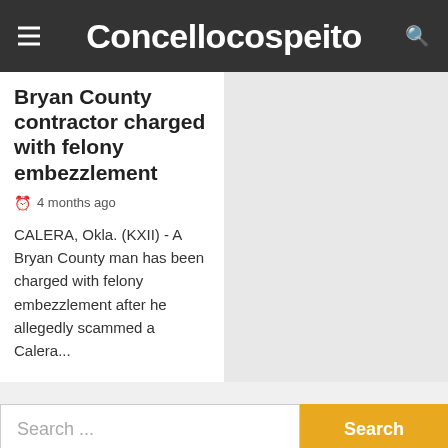Concellocospeito
Bryan County contractor charged with felony embezzlement
4 months ago
CALERA, Okla. (KXII) - A Bryan County man has been charged with felony embezzlement after he allegedly scammed a Calera...
Search ...
We use cookies on our website to give you the most relevant experience by remembering your preferences and repeat visits. By clicking “Accept All”, you consent to the use of ALL